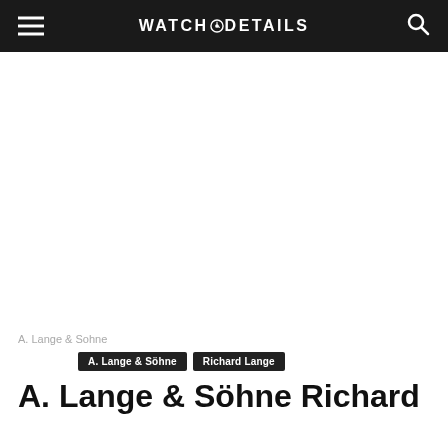WATCH DETAILS
[Figure (other): Large blank white advertisement or image area below the header navigation bar]
A. Lange & Sohne
A. Lange & Söhne  Richard Lange
A. Lange & Söhne Richard